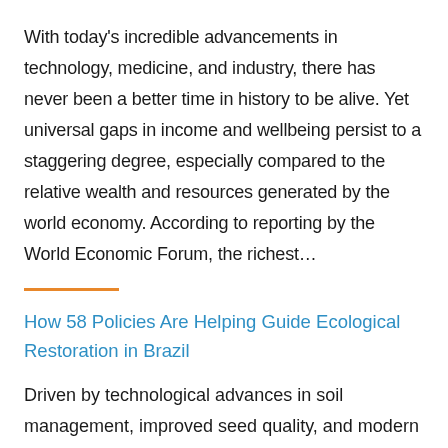With today's incredible advancements in technology, medicine, and industry, there has never been a better time in history to be alive. Yet universal gaps in income and wellbeing persist to a staggering degree, especially compared to the relative wealth and resources generated by the world economy. According to reporting by the World Economic Forum, the richest...
How 58 Policies Are Helping Guide Ecological Restoration in Brazil
Driven by technological advances in soil management, improved seed quality, and modern